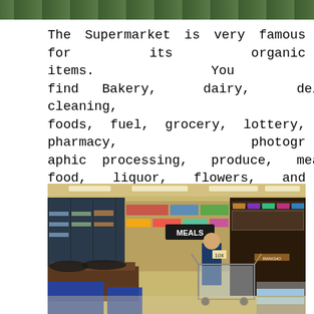[Figure (photo): Top portion of a photo, appears to show outdoor greenery/trees]
The Supermarket is very famous for its organic items. You can find Bakery, dairy, delicatessen, dry cleaning, frozen foods, fuel, grocery, lottery, pharmacy, photographic processing, produce, meats, snack food, liquor, flowers, and Western Union, etc in the stores.
[Figure (photo): Interior of a supermarket showing aisles with refrigerated sections, a 'MEALS' sign, shelves stocked with products, and a woman shopping with a cart]